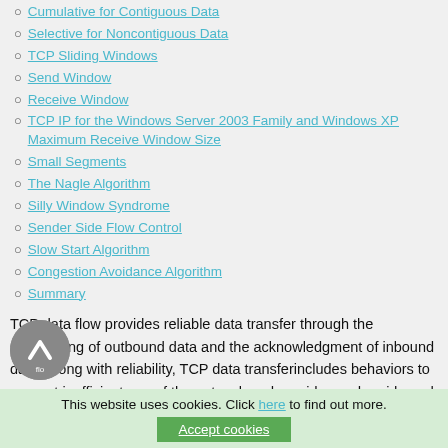Cumulative for Contiguous Data
Selective for Noncontiguous Data
TCP Sliding Windows
Send Window
Receive Window
TCP IP for the Windows Server 2003 Family and Windows XP Maximum Receive Window Size
Small Segments
The Nagle Algorithm
Silly Window Syndrome
Sender Side Flow Control
Slow Start Algorithm
Congestion Avoidance Algorithm
Summary
TCP data flow provides reliable data transfer through the sequencing of outbound data and the acknowledgment of inbound data. Along with reliability, TCP data transferincludes behaviors to prevent inefficient use of the network and provide sender-side and receiver-side flo
This website uses cookies. Click here to find out more. Accept cookies